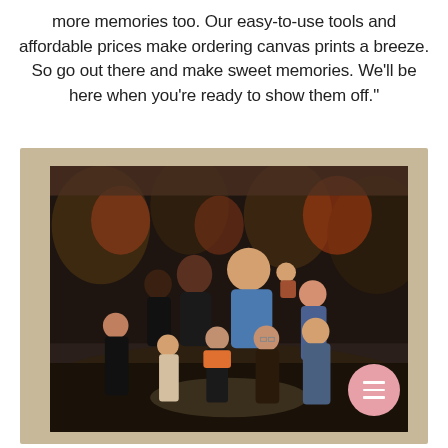more memories too. Our easy-to-use tools and affordable prices make ordering canvas prints a breeze. So go out there and make sweet memories. We'll be here when you're ready to show them off."
[Figure (photo): A canvas print showing a family group of approximately 9 people including adults and children posed outdoors in front of autumn trees. The canvas print is photographed lying on a concrete/stone surface. A pink circular menu button is visible in the bottom right corner of the image.]